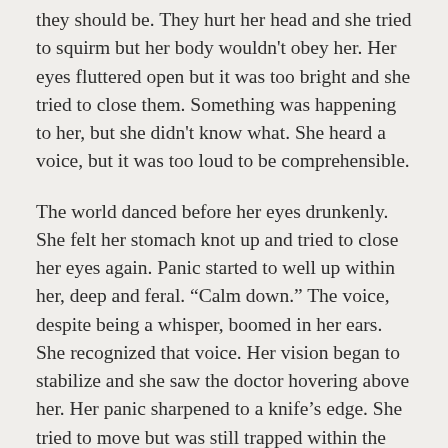they should be. They hurt her head and she tried to squirm but her body wouldn't obey her. Her eyes fluttered open but it was too bright and she tried to close them. Something was happening to her, but she didn't know what. She heard a voice, but it was too loud to be comprehensible.
The world danced before her eyes drunkenly. She felt her stomach knot up and tried to close her eyes again. Panic started to well up within her, deep and feral. “Calm down.” The voice, despite being a whisper, boomed in her ears. She recognized that voice. Her vision began to stabilize and she saw the doctor hovering above her. Her panic sharpened to a knife’s edge. She tried to move but was still trapped within the confines of her own body.
She focused and pulled her powers, drawing heat out